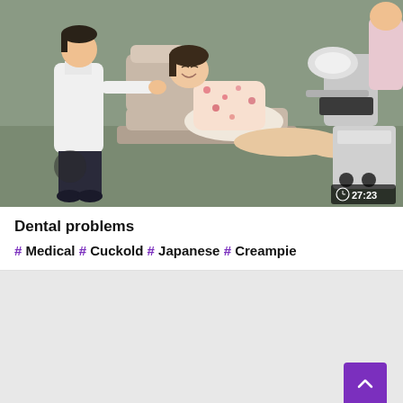[Figure (photo): Screenshot of a video thumbnail showing a dental office scene with a patient reclined in a dental chair and a person in white coat nearby. A duration badge shows 27:23 in the bottom right corner.]
Dental problems
#Medical #Cuckold #Japanese #Creampie